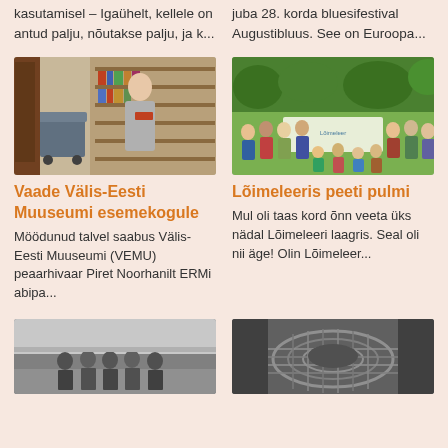kasutamisel – Igaühelt, kellele on antud palju, nõutakse palju, ja k...
juba 28. korda bluesifestival Augustibluus. See on Euroopa...
[Figure (photo): Woman standing in a library archive room holding a book, surrounded by shelves and a cart with books/items]
[Figure (photo): Group of people (adults and children) posing outdoors on grass, some holding a banner/sign]
Vaade Välis-Eesti Muuseumi esemekogule
Lõimeleeris peeti pulmi
Möödunud talvel saabus Välis-Eesti Muuseumi (VEMU) peaarhivaar Piret Noorhanilt ERMi abipa...
Mul oli taas kord õnn veeta üks nädal Lõimeleeri laagris. Seal oli nii äge! Olin Lõimeleer...
[Figure (photo): Black and white photo of a group of people standing together outdoors]
[Figure (photo): Black and white close-up photo of a woven basket or similar craft object]